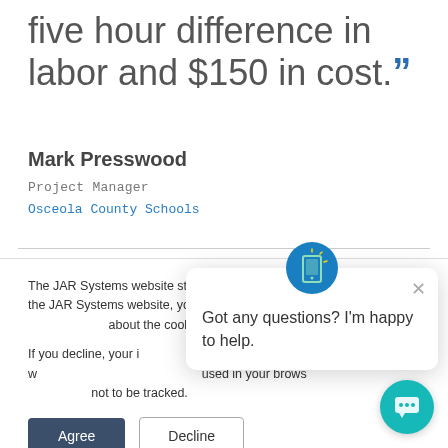five hour difference in labor and $150 in cost.”
Mark Presswood
Project Manager
Osceola County Schools
The JAR Systems website stores cookies on your computer. By using the JAR Systems website, you agree to these cookies being stored. Find out more about the cookies we use.
If you decline, your information won’t be tracked when you visit this website. A single cookie will be used in your browser to remember your preference not to be tracked.
Got any questions? I’m happy to help.